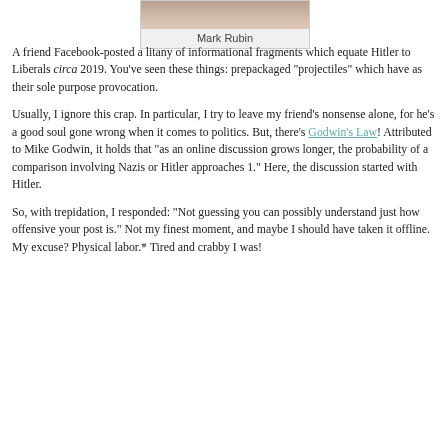[Figure (photo): Partial photo at the top of a person, cropped, with caption 'Mark Rubin' below]
Mark Rubin
A friend Facebook-posted a litany of informational fragments which equate Hitler to Liberals circa 2019. You've seen these things: prepackaged “projectiles” which have as their sole purpose provocation.
Usually, I ignore this crap. In particular, I try to leave my friend’s nonsense alone, for he’s a good soul gone wrong when it comes to politics. But, there’s Godwin’s Law! Attributed to Mike Godwin, it holds that “as an online discussion grows longer, the probability of a comparison involving Nazis or Hitler approaches 1.” Here, the discussion started with Hitler.
So, with trepidation, I responded: “Not guessing you can possibly understand just how offensive your post is.” Not my finest moment, and maybe I should have taken it offline. My excuse? Physical labor.* Tired and crabby I was!